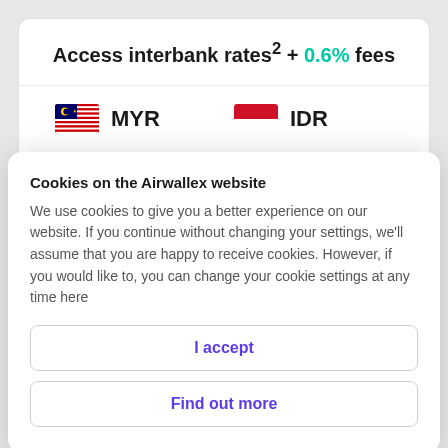Access interbank rates² + 0.6% fees
[Figure (infographic): Currency pair row showing Malaysian flag with MYR label and Indonesian flag with IDR label]
Cookies on the Airwallex website
We use cookies to give you a better experience on our website. If you continue without changing your settings, we'll assume that you are happy to receive cookies. However, if you would like to, you can change your cookie settings at any time here
I accept
Find out more
[Figure (other): Partial flag icons visible at the bottom of the page]